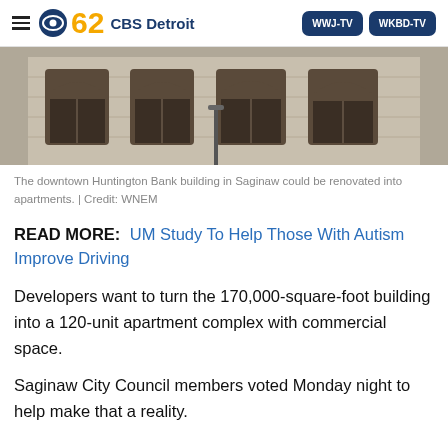CBS 62 CBS Detroit | WWJ-TV | WKBD-TV
[Figure (photo): Photo of the downtown Huntington Bank building in Saginaw — a large stone building with arched windows]
The downtown Huntington Bank building in Saginaw could be renovated into apartments. | Credit: WNEM
READ MORE: UM Study To Help Those With Autism Improve Driving
Developers want to turn the 170,000-square-foot building into a 120-unit apartment complex with commercial space.
Saginaw City Council members voted Monday night to help make that a reality.